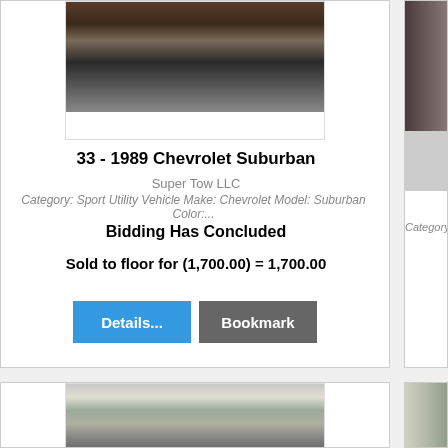[Figure (photo): Front view of a 1989 Chevrolet Suburban SUV truck, a large dark-colored vehicle photographed from the front showing grille and large tires]
33 - 1989 Chevrolet Suburban
Super Tow LLC
Category: Sport Utility Vehicle Make: Chevrolet Model: Suburban Color:...
Bidding Has Concluded
Sold to floor for (1,700.00) = 1,700.00
[Figure (photo): Partial view of a vehicle listing on the right side, partially cropped]
[Figure (photo): Bottom listing showing a white/silver vehicle in a parking lot, partially visible]